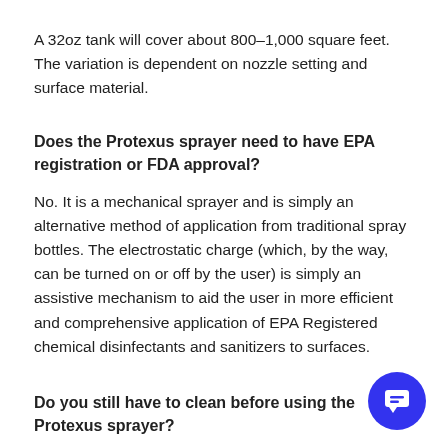A 32oz tank will cover about 800–1,000 square feet. The variation is dependent on nozzle setting and surface material.
Does the Protexus sprayer need to have EPA registration or FDA approval?
No. It is a mechanical sprayer and is simply an alternative method of application from traditional spray bottles. The electrostatic charge (which, by the way, can be turned on or off by the user) is simply an assistive mechanism to aid the user in more efficient and comprehensive application of EPA Registered chemical disinfectants and sanitizers to surfaces.
Do you still have to clean before using the Protexus sprayer?